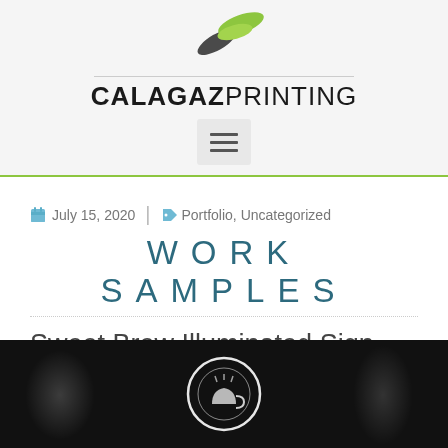CALAGAZ PRINTING
July 15, 2020 | Portfolio, Uncategorized
WORK SAMPLES
Sweet Brew Illuminated Sign
[Figure (photo): Dark photo of an illuminated sign with a circular emblem/logo, Sweet Brew sign lit up at night]